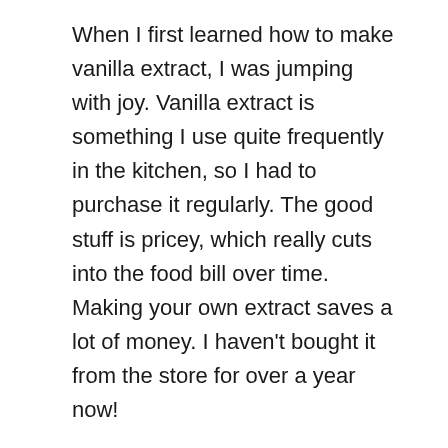When I first learned how to make vanilla extract, I was jumping with joy. Vanilla extract is something I use quite frequently in the kitchen, so I had to purchase it regularly. The good stuff is pricey, which really cuts into the food bill over time. Making your own extract saves a lot of money. I haven't bought it from the store for over a year now!
There are great vanilla beans for sale on Amazon, at a fantastic price. I have made this as a gift for friends over Christmas. The beans last a really long time (mine are still great after a year!). I store my vanilla beans in my baking cabinet in a tall canning jar, which keeps them air tight. I generally rotate 2-3 jars...